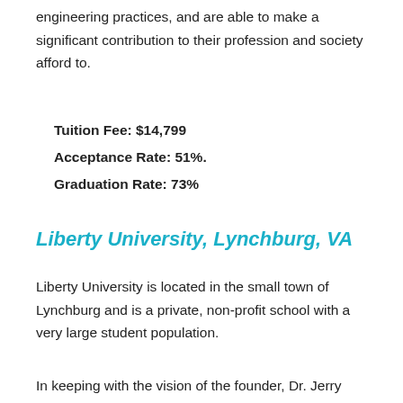engineering practices, and are able to make a significant contribution to their profession and society afford to.
Tuition Fee: $14,799
Acceptance Rate: 51%.
Graduation Rate: 73%
Liberty University, Lynchburg, VA
Liberty University is located in the small town of Lynchburg and is a private, non-profit school with a very large student population.
In keeping with the vision of the founder, Dr. Jerry